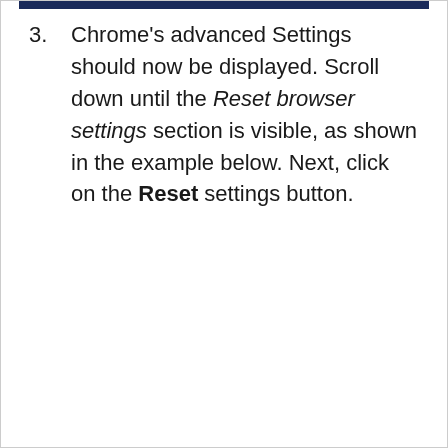3. Chrome's advanced Settings should now be displayed. Scroll down until the Reset browser settings section is visible, as shown in the example below. Next, click on the Reset settings button.